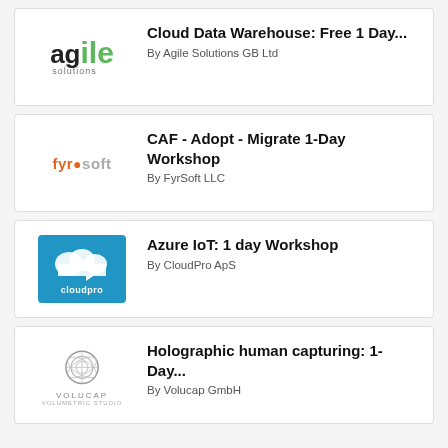Cloud Data Warehouse: Free 1 Day... By Agile Solutions GB Ltd
CAF - Adopt - Migrate 1-Day Workshop By FyrSoft LLC
Azure IoT: 1 day Workshop By CloudPro ApS
Holographic human capturing: 1-Day... By Volucap GmbH